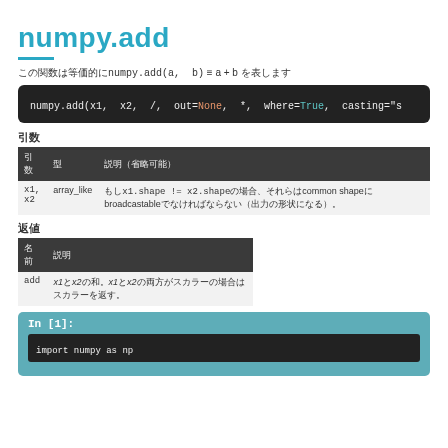numpy.add
この関数は等価的にnumpy.add(a, b) ≡ a + b を表します
[Figure (screenshot): Code block showing: numpy.add(x1, x2, /, out=None, *, where=True, casting="s...]
引数
| 引数 | 型 | 説明（省略可能） |
| --- | --- | --- |
| x1, x2 | array_like | もしx1.shape != x2.shapeの場合、それらはcommon shapeにbroadcastableでなければならない（出力の形状になる）。 |
返値
| 名前 | 説明 |
| --- | --- |
| add | x1とx2の和。x1とx2の両方がスカラーの場合はスカラーを返す。 |
[Figure (screenshot): Jupyter notebook cell: In [1]: import numpy as np]